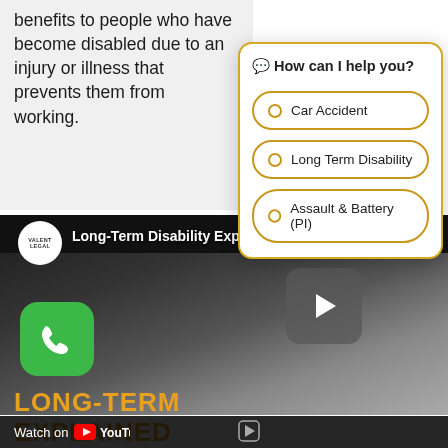benefits to people who have become disabled due to an injury or illness that prevents them from working.
[Figure (screenshot): YouTube video thumbnail: Long-Term Disability Explained in 1 Minute, with Valent Legal logo, play button, phone icon, LONG-TERM and EXPLAINED text in gold, Watch on YouTube bar at bottom]
[Figure (screenshot): Chat widget overlay with header 'How can I help you?' and three radio button options: Car Accident, Long Term Disability, Assault & Battery (PI)]